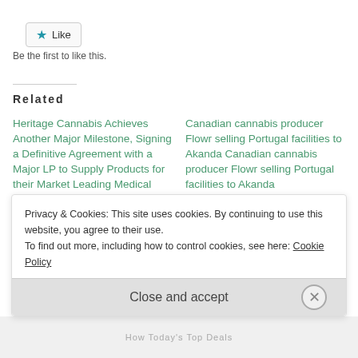[Figure (other): Like button with star icon]
Be the first to like this.
Related
Heritage Cannabis Achieves Another Major Milestone, Signing a Definitive Agreement with a Major LP to Supply Products for their Market Leading Medical Platform
Canadian cannabis producer Flowr selling Portugal facilities to Akanda Canadian cannabis producer Flowr selling Portugal facilities to Akanda CANNANNEW REPORT MJ
Heritage Cannabis Achieves A...
Biz Canadian cannabis...
Privacy & Cookies: This site uses cookies. By continuing to use this website, you agree to their use. To find out more, including how to control cookies, see here: Cookie Policy
Close and accept